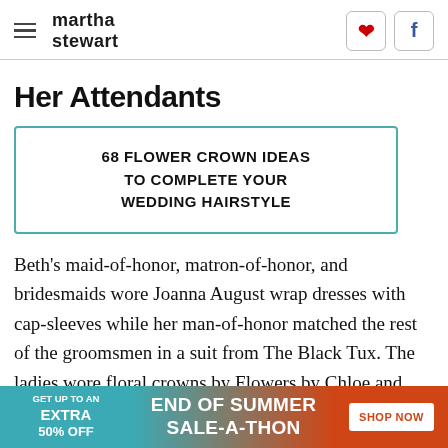martha stewart
Her Attendants
68 FLOWER CROWN IDEAS TO COMPLETE YOUR WEDDING HAIRSTYLE
Beth's maid-of-honor, matron-of-honor, and bridesmaids wore Joanna August wrap dresses with cap-sleeves while her man-of-honor matched the rest of the groomsmen in a suit from The Black Tux. The ladies wore floral crowns by Flowers by Chloe and carried bouquets…
[Figure (infographic): Advertisement banner: GET UP TO AN EXTRA 50% OFF — END OF SUMMER SALE-A-THON — SHOP NOW button]